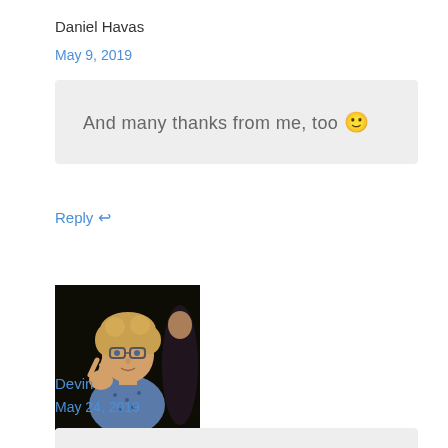Daniel Havas
May 9, 2019
And many thanks from me, too 🙂
Reply ↩
[Figure (photo): Profile photo of a young man with glasses and curly hair making a peace sign]
Devin
May 24, 2019
Thank you! Annoying program!